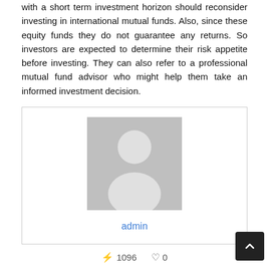with a short term investment horizon should reconsider investing in international mutual funds. Also, since these equity funds they do not guarantee any returns. So investors are expected to determine their risk appetite before investing. They can also refer to a professional mutual fund advisor who might help them take an informed investment decision.
[Figure (illustration): A card with a grey placeholder avatar image (silhouette of a person) and the text 'admin' in blue below it.]
admin
⚡ 1096  ♡ 0